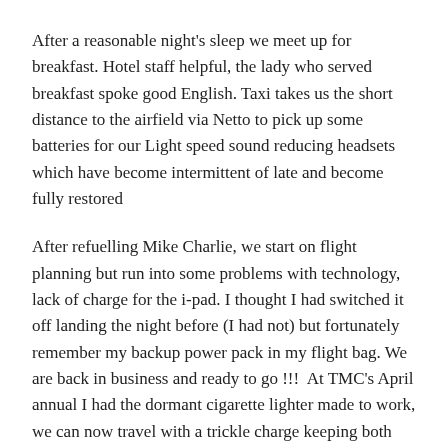After a reasonable night's sleep we meet up for breakfast. Hotel staff helpful, the lady who served breakfast spoke good English. Taxi takes us the short distance to the airfield via Netto to pick up some batteries for our Light speed sound reducing headsets which have become intermittent of late and become fully restored
After refuelling Mike Charlie, we start on flight planning but run into some problems with technology, lack of charge for the i-pad. I thought I had switched it off landing the night before (I had not) but fortunately remember my backup power pack in my flight bag. We are back in business and ready to go !!!  At TMC's April annual I had the dormant cigarette lighter made to work, we can now travel with a trickle charge keeping both iPad and iPhone charged.  (pilots of TMC in 1966 would have regarded our GPS iPad strapped to our knee with disbelief)
The pressure is off as the forecast has improved and we decide to return to Texel. We liked the place so much we felt we had to return